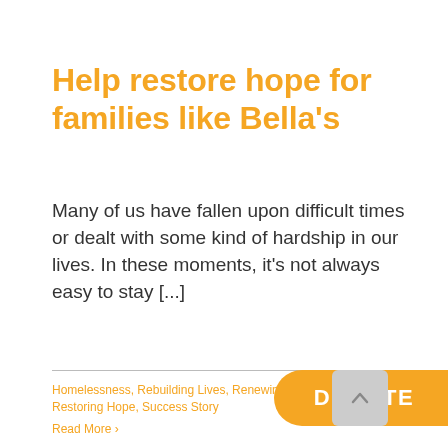Help restore hope for families like Bella's
Many of us have fallen upon difficult times or dealt with some kind of hardship in our lives. In these moments, it's not always easy to stay [...]
Homelessness, Rebuilding Lives, Renewing Community, Restoring Hope, Success Story
Read More ›
[Figure (other): Orange DONATE button (pill shape, right-clipped)]
[Figure (other): Gray scroll-to-top button with upward chevron arrow]